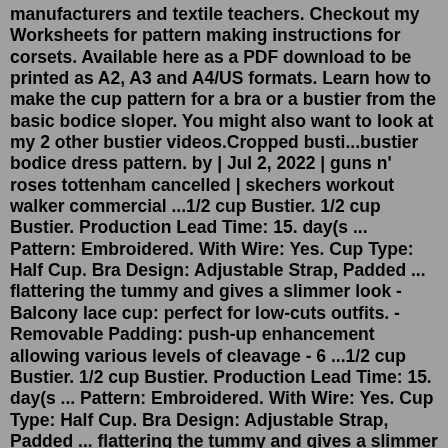manufacturers and textile teachers. Checkout my Worksheets for pattern making instructions for corsets. Available here as a PDF download to be printed as A2, A3 and A4/US formats. Learn how to make the cup pattern for a bra or a bustier from the basic bodice sloper. You might also want to look at my 2 other bustier videos.Cropped busti...bustier bodice dress pattern. by | Jul 2, 2022 | guns n' roses tottenham cancelled | skechers workout walker commercial ...1/2 cup Bustier. 1/2 cup Bustier. Production Lead Time: 15. day(s ... Pattern: Embroidered. With Wire: Yes. Cup Type: Half Cup. Bra Design: Adjustable Strap, Padded ... flattering the tummy and gives a slimmer look - Balcony lace cup: perfect for low-cuts outfits. - Removable Padding: push-up enhancement allowing various levels of cleavage - 6 ...1/2 cup Bustier. 1/2 cup Bustier. Production Lead Time: 15. day(s ... Pattern: Embroidered. With Wire: Yes. Cup Type: Half Cup. Bra Design: Adjustable Strap, Padded ... flattering the tummy and gives a slimmer look - Balcony lace